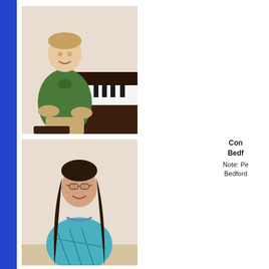[Figure (photo): Boy in green polo shirt sitting at a piano/keyboard, smiling at camera, wearing khaki shorts]
[Figure (photo): Young girl with long dark hair and glasses, wearing a blue/teal patterned top, smiling at camera]
Com
Bedf
Note: Pe
Bedford